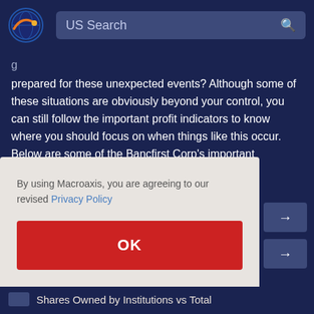US Search
prepared for these unexpected events? Although some of these situations are obviously beyond your control, you can still follow the important profit indicators to know where you should focus on when things like this occur. Below are some of the Bancfirst Corp's important profitability drivers
By using Macroaxis, you are agreeing to our revised Privacy Policy
OK
Shares Owned by Institutions vs Total